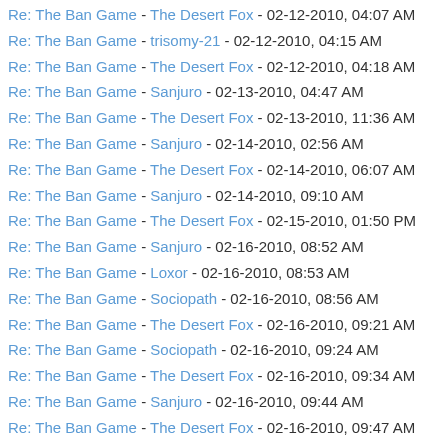Re: The Ban Game - The Desert Fox - 02-12-2010, 04:07 AM
Re: The Ban Game - trisomy-21 - 02-12-2010, 04:15 AM
Re: The Ban Game - The Desert Fox - 02-12-2010, 04:18 AM
Re: The Ban Game - Sanjuro - 02-13-2010, 04:47 AM
Re: The Ban Game - The Desert Fox - 02-13-2010, 11:36 AM
Re: The Ban Game - Sanjuro - 02-14-2010, 02:56 AM
Re: The Ban Game - The Desert Fox - 02-14-2010, 06:07 AM
Re: The Ban Game - Sanjuro - 02-14-2010, 09:10 AM
Re: The Ban Game - The Desert Fox - 02-15-2010, 01:50 PM
Re: The Ban Game - Sanjuro - 02-16-2010, 08:52 AM
Re: The Ban Game - Loxor - 02-16-2010, 08:53 AM
Re: The Ban Game - Sociopath - 02-16-2010, 08:56 AM
Re: The Ban Game - The Desert Fox - 02-16-2010, 09:21 AM
Re: The Ban Game - Sociopath - 02-16-2010, 09:24 AM
Re: The Ban Game - The Desert Fox - 02-16-2010, 09:34 AM
Re: The Ban Game - Sanjuro - 02-16-2010, 09:44 AM
Re: The Ban Game - The Desert Fox - 02-16-2010, 09:47 AM
Re: The Ban Game - Sanjuro - 02-16-2010, 11:50 AM
Re: The Ban Game - CrayolaColours - 02-16-2010, 11:57 AM
Re: The Ban Game - The Desert Fox - 02-16-2010, 12:36 PM
Re: The Ban Game - Sanjuro - 02-17-2010, 11:22 AM
Re: The Ban Game - The Desert Fox - 02-17-2010, 12:11 PM
Re: The Ban Game - Thought Criminal - 02-18-2010, 06:39 AM